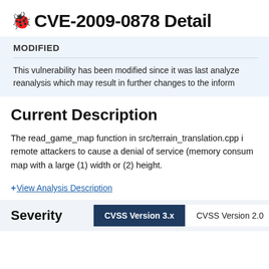CVE-2009-0878 Detail
MODIFIED
This vulnerability has been modified since it was last analyzed. reanalysis which may result in further changes to the inform
Current Description
The read_game_map function in src/terrain_translation.cpp i remote attackers to cause a denial of service (memory consum map with a large (1) width or (2) height.
+View Analysis Description
| Severity | CVSS Version 3.x | CVSS Version 2.0 |
| --- | --- | --- |